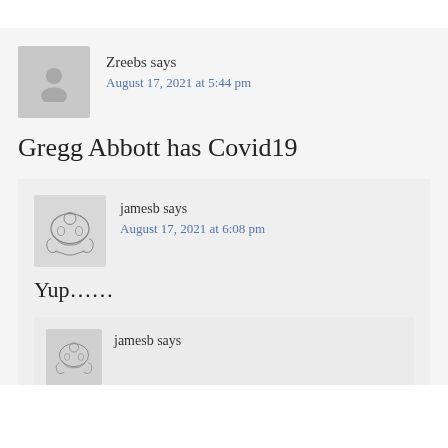Zreebs says
August 17, 2021 at 5:44 pm
Gregg Abbott has Covid19
jamesb says
August 17, 2021 at 6:08 pm
Yup......
jamesb says